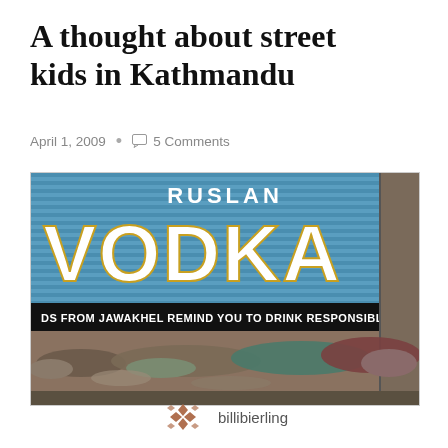A thought about street kids in Kathmandu
April 1, 2009  •  5 Comments
[Figure (photo): Children sleeping on the street in front of a blue metal shutter with a large 'RUSLAN VODKA' advertisement. Below the vodka branding text reads: 'DS FROM JAWAKHEL REMIND YOU TO DRINK RESPONSIBLY'. Several children are lying on the ground in front of the shutter.]
billibierling